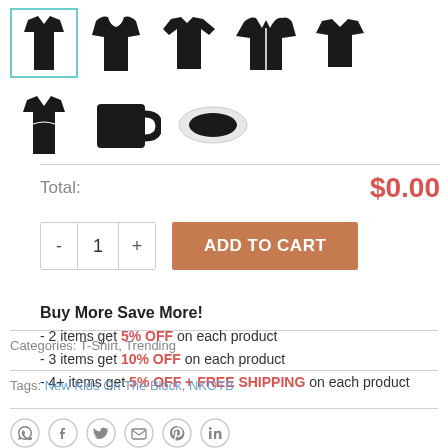[Figure (illustration): Product thumbnail images in two rows: row 1 shows a selected t-shirt (teal border), hoodie, long-sleeve shirt, zip hoodie, and crewneck sweatshirt; row 2 shows a women's t-shirt, black mug, and face mask.]
Total:   $0.00
[Figure (other): Quantity selector showing minus button, 1, plus button, and an orange ADD TO CART button]
Buy More Save More!
- 2 items get 5% OFF on each product
- 3 items get 10% OFF on each product
- 4+ items get 5% OFF + FREE SHIPPING on each product
Categories: T-Shirt, Trending
Tags: New Kids On The Block, NKOTB
[Figure (other): Social share icons: WhatsApp, Facebook, Twitter, Email, Pinterest, LinkedIn]